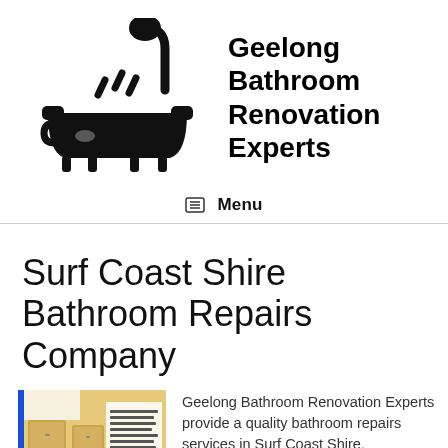[Figure (logo): Black silhouette icon of a bathtub with a shower head, water drops falling]
Geelong Bathroom Renovation Experts
Menu
Surf Coast Shire Bathroom Repairs Company
[Figure (photo): Small thumbnail image of a bathroom renovation with blue border, shows bathroom interior with vanity units and overlaid text]
Geelong Bathroom Renovation Experts provide a quality bathroom repairs services in Surf Coast Shire.